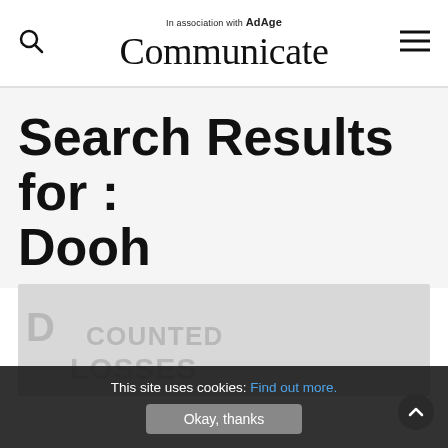In association with AdAge — Communicate
Search Results for : Dooh
[Figure (photo): Partially visible article image with text fragments including 'D', 'COUNTED', and 'LOSSES' visible in gray on a light gray background]
This site uses cookies: Find out more. Okay, thanks